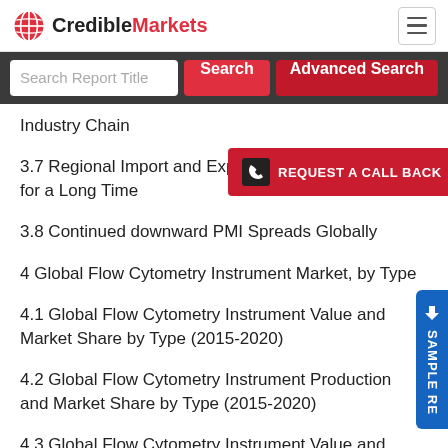CredibleMarkets
Industry Chain
3.7 Regional Import and Export Co... for a Long Time
3.8 Continued downward PMI Spreads Globally
4 Global Flow Cytometry Instrument Market, by Type
4.1 Global Flow Cytometry Instrument Value and Market Share by Type (2015-2020)
4.2 Global Flow Cytometry Instrument Production and Market Share by Type (2015-2020)
4.3 Global Flow Cytometry Instrument Value and